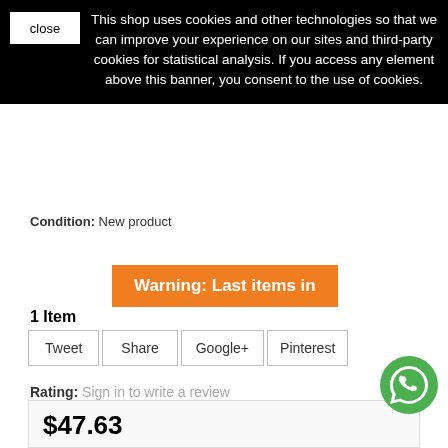This shop uses cookies and other technologies so that we can improve your experience on our sites and third-party cookies for statistical analysis. If you access any element above this banner, you consent to the use of cookies.
Condition: New product
Warning: Last items in
1 Item
Tweet  Share  Google+  Pinterest
Rating:  Sign in to write a review
Print
$47.63